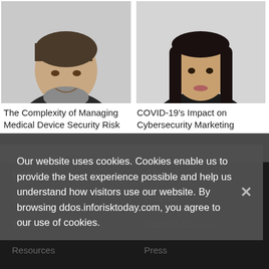[Figure (photo): Headshot of a middle-aged man with grey beard wearing a dark blazer, against a light grey background]
[Figure (photo): Headshot of a young woman with long dark hair wearing a dark blazer and green top, against a light grey background]
The Complexity of Managing Medical Device Security Risk
COVID-19's Impact on Cybersecurity Marketing
Our website uses cookies. Cookies enable us to provide the best experience possible and help us understand how visitors use our website. By browsing ddos.inforisktoday.com, you agree to our use of cookies.
Explore
About
×
News
Editorial
Training
Board of Advisers
Resources
Press